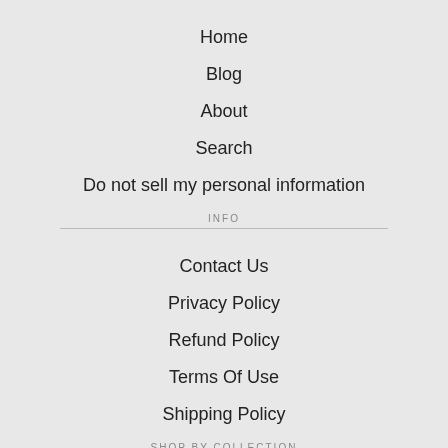Home
Blog
About
Search
Do not sell my personal information
INFO
Contact Us
Privacy Policy
Refund Policy
Terms Of Use
Shipping Policy
SHOP BY COLLECTION
Vegan Jewelry - Life Is Sacred Collection
Romantic Crystals Collection
The Stamped Gift Shop
Adopt & Rescue Collection